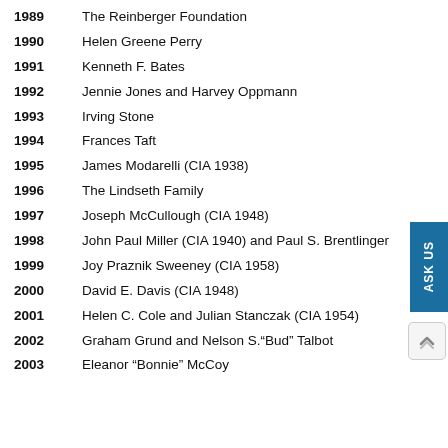1989    The Reinberger Foundation
1990    Helen Greene Perry
1991    Kenneth F. Bates
1992    Jennie Jones and Harvey Oppmann
1993    Irving Stone
1994    Frances Taft
1995    James Modarelli (CIA 1938)
1996    The Lindseth Family
1997    Joseph McCullough (CIA 1948)
1998    John Paul Miller (CIA 1940) and Paul S. Brentlinger
1999    Joy Praznik Sweeney (CIA 1958)
2000    David E. Davis (CIA 1948)
2001    Helen C. Cole and Julian Stanczak (CIA 1954)
2002    Graham Grund and Nelson S."Bud" Talbot
2003    Eleanor "Bonnie" McCoy